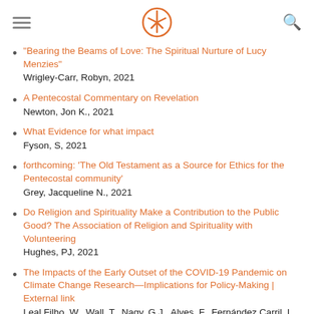[hamburger menu] [logo] [search]
"Bearing the Beams of Love: The Spiritual Nurture of Lucy Menzies"
Wrigley-Carr, Robyn, 2021
A Pentecostal Commentary on Revelation
Newton, Jon K., 2021
What Evidence for what impact
Fyson, S, 2021
forthcoming: 'The Old Testament as a Source for Ethics for the Pentecostal community'
Grey, Jacqueline N., 2021
Do Religion and Spirituality Make a Contribution to the Public Good? The Association of Religion and Spirituality with Volunteering
Hughes, PJ, 2021
The Impacts of the Early Outset of the COVID-19 Pandemic on Climate Change Research—Implications for Policy-Making | External link
Leal Filho, W., Wall, T., Nagy, G.J., Alves, F., Fernández Carril, L. R., Li, C., Mucova, S., Platje, J., Rayman-Bacchus, L., Totin, E., Ayal, D.Y., Luetz, J.M., Azeiteiro, U.M., Garcia Vinuesa, A., &